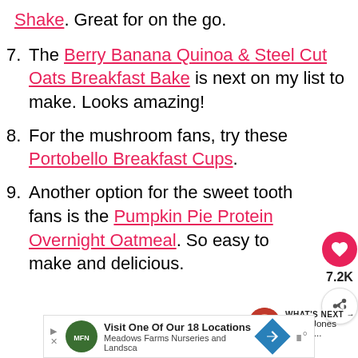Shake. Great for on the go.
7. The Berry Banana Quinoa & Steel Cut Oats Breakfast Bake is next on my list to make. Looks amazing!
8. For the mushroom fans, try these Portobello Breakfast Cups.
9. Another option for the sweet tooth fans is the Pumpkin Pie Protein Overnight Oatmeal. So easy to make and delicious.
[Figure (infographic): Social media UI overlay: heart/like button (pink circle), share button, count 7.2K, and 'What's Next' panel with Leslie Jones thumbnail]
[Figure (infographic): Advertisement banner: Meadows Farms Nurseries and Landscape - Visit One Of Our 18 Locations]